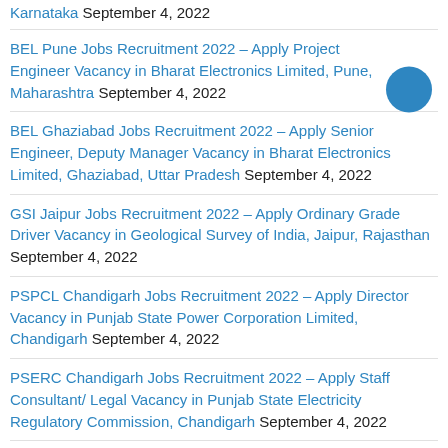Karnataka September 4, 2022
BEL Pune Jobs Recruitment 2022 – Apply Project Engineer Vacancy in Bharat Electronics Limited, Pune, Maharashtra September 4, 2022
BEL Ghaziabad Jobs Recruitment 2022 – Apply Senior Engineer, Deputy Manager Vacancy in Bharat Electronics Limited, Ghaziabad, Uttar Pradesh September 4, 2022
GSI Jaipur Jobs Recruitment 2022 – Apply Ordinary Grade Driver Vacancy in Geological Survey of India, Jaipur, Rajasthan September 4, 2022
PSPCL Chandigarh Jobs Recruitment 2022 – Apply Director Vacancy in Punjab State Power Corporation Limited, Chandigarh September 4, 2022
PSERC Chandigarh Jobs Recruitment 2022 – Apply Staff Consultant/ Legal Vacancy in Punjab State Electricity Regulatory Commission, Chandigarh September 4, 2022
SPIC Chandigarh Jobs Recruitment 2022 – Apply Data Entry Operator Vacancy in Society for Promotion of IT in Chandigarh, Chandigarh September 4, 2022
PGIMER Chandigarh Jobs Recruitment 2022 – Apply Hospital